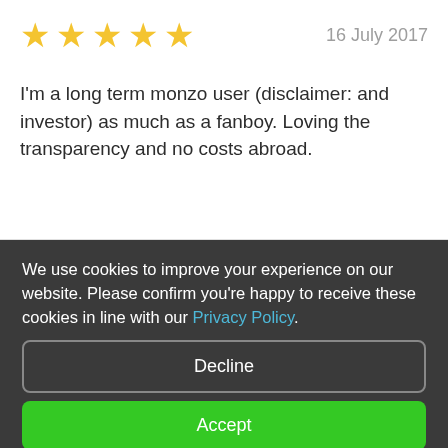[Figure (other): Five gold star rating icons followed by the date '16 July 2017' on the right]
I'm a long term monzo user (disclaimer: and investor) as much as a fanboy. Loving the transparency and no costs abroad.
We use cookies to improve your experience on our website. Please confirm you're happy to receive these cookies in line with our Privacy Policy.
Decline
Accept